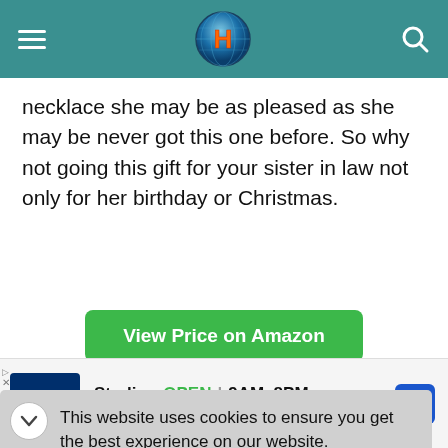Navigation bar with hamburger menu, H logo, and search icon
necklace she may be as pleased as she may be never got this one before. So why not going this gift for your sister in law not only for her birthday or Christmas.
View Price on Amazon
This website uses cookies to ensure you get the best experience on our website.
Sterling OPEN | 9AM–8PM 22000 Dulles Retail Plaza, #110, Sterlin